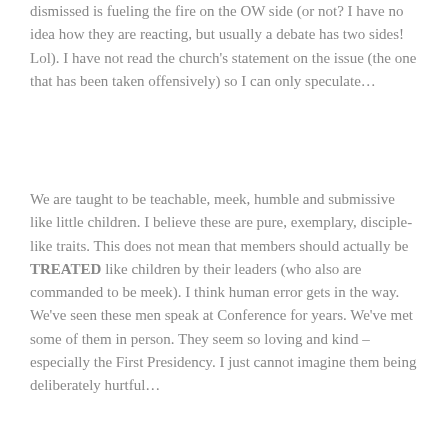dismissed is fueling the fire on the OW side (or not? I have no idea how they are reacting, but usually a debate has two sides! Lol). I have not read the church's statement on the issue (the one that has been taken offensively) so I can only speculate…
We are taught to be teachable, meek, humble and submissive like little children. I believe these are pure, exemplary, disciple-like traits. This does not mean that members should actually be TREATED like children by their leaders (who also are commanded to be meek). I think human error gets in the way. We've seen these men speak at Conference for years. We've met some of them in person. They seem so loving and kind – especially the First Presidency. I just cannot imagine them being deliberately hurtful…